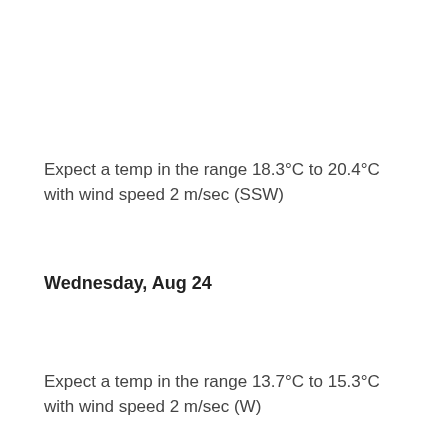Expect a temp in the range 18.3°C to 20.4°C with wind speed 2 m/sec (SSW)
Wednesday, Aug 24
Expect a temp in the range 13.7°C to 15.3°C with wind speed 2 m/sec (W)